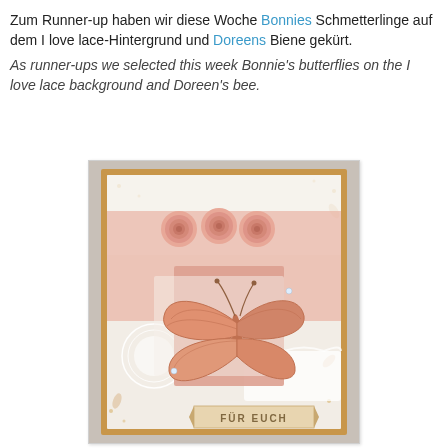Zum Runner-up haben wir diese Woche Bonnies Schmetterlinge auf dem I love lace-Hintergrund und Doreens Biene gekürt.
As runner-ups we selected this week Bonnie's butterflies on the I love lace background and Doreen's bee.
[Figure (photo): A handmade greeting card with a kraft/gold border, pink floral patterned paper background, three pink rosette flowers at the top, a large die-cut butterfly in salmon/copper tones in the center, white lace doily elements, and a banner reading 'FÜR EUCH' at the bottom.]